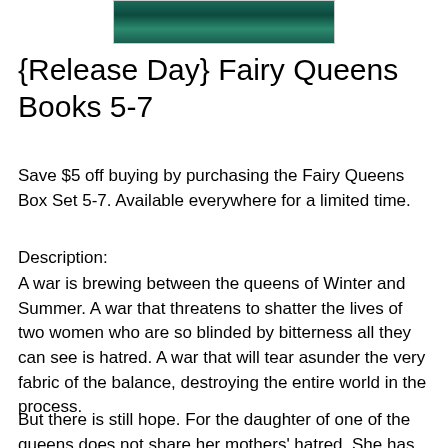[Figure (photo): Top portion of a book cover image with dark green/teal forest tones, partially cropped]
{Release Day} Fairy Queens Books 5-7
Save $5 off buying by purchasing the Fairy Queens Box Set 5-7. Available everywhere for a limited time.
Description:
A war is brewing between the queens of Winter and Summer. A war that threatens to shatter the lives of two women who are so blinded by bitterness all they can see is hatred. A war that will tear asunder the very fabric of the balance, destroying the entire world in the process.
But there is still hope. For the daughter of one of the queens does not share her mothers' hatred. She has found love and hope, and she is determined to take